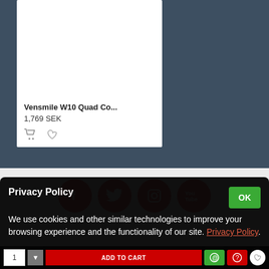[Figure (screenshot): E-commerce product card showing Vensmile W10 Quad Co... priced at 1,769 SEK with cart and wishlist icons]
Vensmile W10 Quad Co...
1,769 SEK
[Figure (screenshot): Social media icons row: Facebook, Twitter, Instagram, YouTube - all red circles with white icons]
Privacy Policy
We use cookies and other similar technologies to improve your browsing experience and the functionality of our site. Privacy Policy.
[Figure (screenshot): Bottom bar with quantity selector, ADD TO CART button, and other action icons]